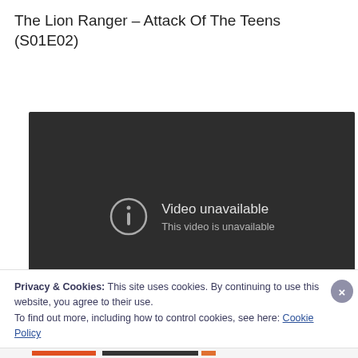The Lion Ranger – Attack Of The Teens (S01E02)
[Figure (screenshot): Embedded YouTube video player showing 'Video unavailable - This video is unavailable' error message on dark background with YouTube play button icon in bottom right corner.]
Privacy & Cookies: This site uses cookies. By continuing to use this website, you agree to their use.
To find out more, including how to control cookies, see here: Cookie Policy
Close and accept